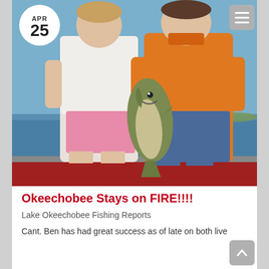[Figure (photo): Two people standing on a boat holding a large bass fish, with water and sky in the background. One person wears a white t-shirt and pink shorts, the other wears an orange sleeveless shirt and blue jeans. A circular date badge showing APR 25 is overlaid in the top left corner.]
Okeechobee Stays on FIRE!!!!
Lake Okeechobee Fishing Reports
Cant. Ben has had great success as of late on both live